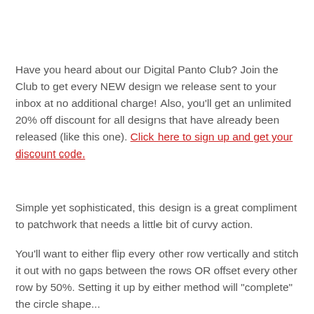Have you heard about our Digital Panto Club? Join the Club to get every NEW design we release sent to your inbox at no additional charge! Also, you'll get an unlimited 20% off discount for all designs that have already been released (like this one). Click here to sign up and get your discount code.
Simple yet sophisticated, this design is a great compliment to patchwork that needs a little bit of curvy action.
You'll want to either flip every other row vertically and stitch it out with no gaps between the rows OR offset every other row by 50%. Setting it up by either method will "complete" the circle shape...